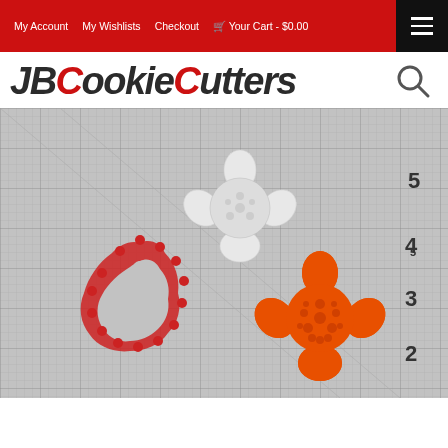My Account | My Wishlists | Checkout | Your Cart - $0.00
JBCookieCutters
[Figure (photo): Photo of cookie cutters on a grid measuring mat. A red plastic flower-shaped cookie cutter outline on the left, an orange stamped flower cookie in the lower right, and a white 3D-printed flower stamp shape in the upper center, all on a gray grid background with ruler markings showing measurements 2, 3, 4, 45 on the right side.]